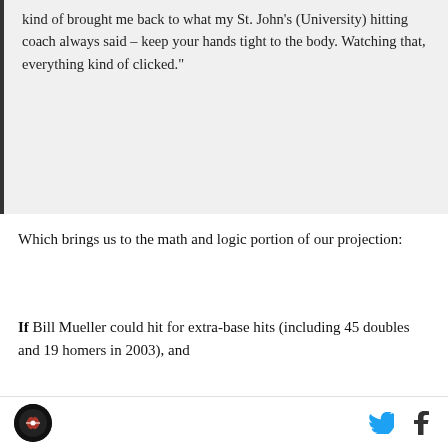kind of brought me back to what my St. John's (University) hitting coach always said – keep your hands tight to the body. Watching that, everything kind of clicked."
Which brings us to the math and logic portion of our projection:
If Bill Mueller could hit for extra-base hits (including 45 doubles and 19 homers in 2003), and
[Figure (other): Samsung advertisement: 'SAMSUNG' logo in bold uppercase, headline 'Bring all your devices into the fold', and a 'LEARN MORE' button with rounded border.]
Site logo icon on left; Twitter and Facebook share icons on right